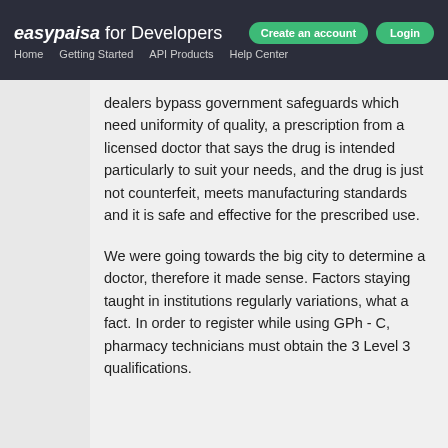easypaisa for Developers | Home Getting Started API Products Help Center | Create an account Login
dealers bypass government safeguards which need uniformity of quality, a prescription from a licensed doctor that says the drug is intended particularly to suit your needs, and the drug is just not counterfeit, meets manufacturing standards and it is safe and effective for the prescribed use.
We were going towards the big city to determine a doctor, therefore it made sense. Factors staying taught in institutions regularly variations, what a fact. In order to register while using GPh - C, pharmacy technicians must obtain the 3 Level 3 qualifications.